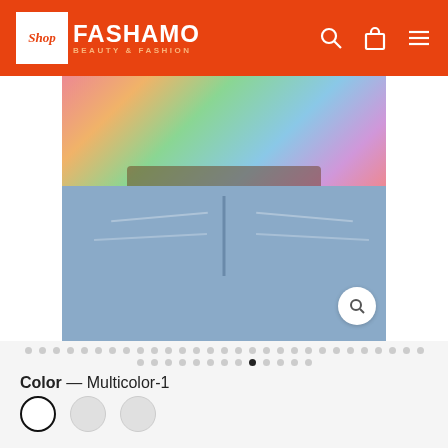Shop FASHAMO BEAUTY & FASHION
[Figure (photo): Product photo showing lower half of a person wearing light blue jeans and a multicolor tie-dye top, displayed in a product carousel with white side panels and a zoom icon.]
Color — Multicolor-1
[Figure (other): Three circular color swatches: first selected (outlined in black, white fill), second light gray, third light gray.]
Size
[Figure (other): Four size buttons: S (selected, black border), M, a crossed-out size, L.]
Material